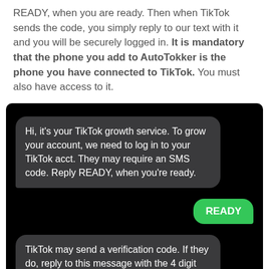READY, when you are ready. Then when TikTok sends the code, you simply reply to our text with it and you will be securely logged in. It is mandatory that the phone you add to AutoTokker is the phone you have connected to TikTok. You must also have access to it.
[Figure (screenshot): A screenshot of a text message conversation on a black background. A dark gray bubble (received) reads: 'Hi, it's your TikTok growth service. To grow your account, we need to log in to your TikTok acct. They may require an SMS code. Reply READY, when you're ready.' A green bubble (sent) reads: 'READY'. A dark gray bubble (received) reads: 'TikTok may send a verification code. If they do, reply to this message with the 4 digit code they sent you ASAP. Only need to reply if you get a code.']